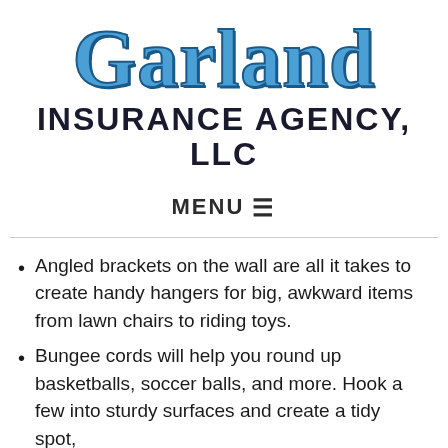[Figure (logo): Garland Insurance Agency, LLC logo with 'Garland' in large blue serif text and 'INSURANCE AGENCY, LLC' in bold black sans-serif below]
MENU☰
Angled brackets on the wall are all it takes to create handy hangers for big, awkward items from lawn chairs to riding toys.
Bungee cords will help you round up basketballs, soccer balls, and more. Hook a few into sturdy surfaces and create a tidy spot,